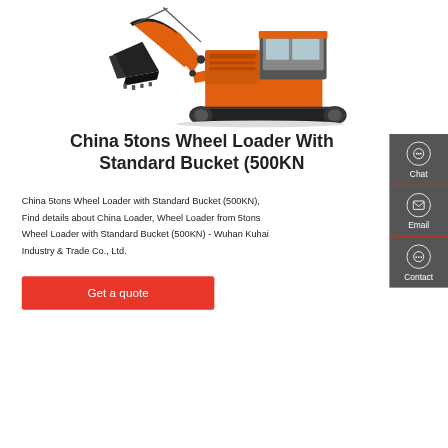[Figure (photo): Orange excavator/wheel loader with black bucket on white background]
China 5tons Wheel Loader With Standard Bucket (500KN
China 5tons Wheel Loader with Standard Bucket (500KN), Find details about China Loader, Wheel Loader from 5tons Wheel Loader with Standard Bucket (500KN) - Wuhan Kuhai Industry & Trade Co., Ltd.
Get a quote